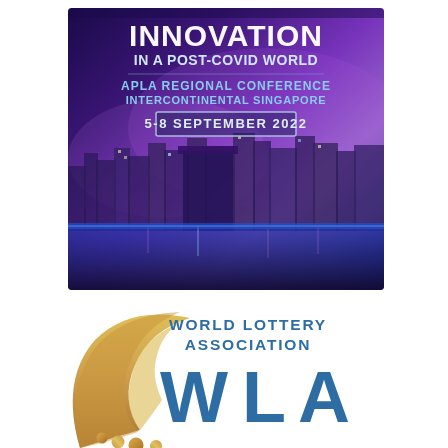[Figure (photo): APLA Regional Conference banner with purple-toned Singapore skyline at night. Text reads: INNOVATION IN A POST-COVID WORLD, APLA REGIONAL CONFERENCE, INTERCONTINENTAL SINGAPORE, 5-8 SEPTEMBER 2022]
[Figure (logo): World Lottery Association (WLA) logo with golden swoosh/arc design and large blue WLA letters, text 'WORLD LOTTERY ASSOCIATION' in blue to the right]